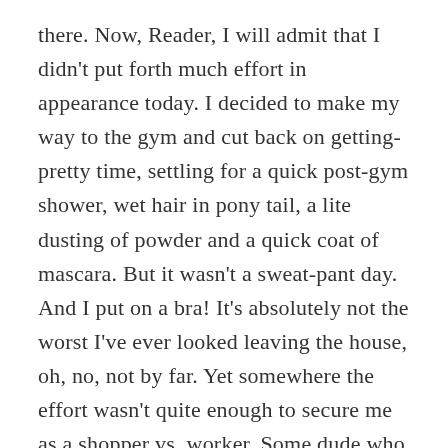there. Now, Reader, I will admit that I didn't put forth much effort in appearance today. I decided to make my way to the gym and cut back on getting-pretty time, settling for a quick post-gym shower, wet hair in pony tail, a lite dusting of powder and a quick coat of mascara. But it wasn't a sweat-pant day. And I put on a bra! It's absolutely not the worst I've ever looked leaving the house, oh, no, not by far. Yet somewhere the effort wasn't quite enough to secure me as a shopper vs. worker. Some dude who asked me where he could find mulch said it was my blue shirt that confused him. Really? That's for playing, but I don't buy your story. I looked just hillbilly enough. It's a fine line I walk some days. Some days I don't make it to the other side.